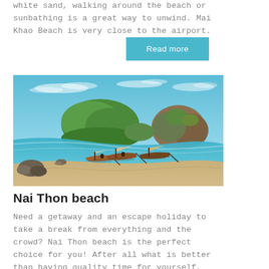white sand, walking around the beach or sunbathing is a great way to unwind. Mai Khao Beach is very close to the airport.
[Figure (other): A teal button labeled 'Read more']
[Figure (photo): Tropical beach scene with longtail boats moored near rocky shoreline, clear turquoise water, sandy beach, rocky islands with green foliage in background under blue sky with wispy clouds.]
Nai Thon beach
Need a getaway and an escape holiday to take a break from everything and the crowd? Nai Thon beach is the perfect choice for you! After all what is better than having quality time for yourself, enjoy a quiet swim in the sea and enjoy the serenity of the place.